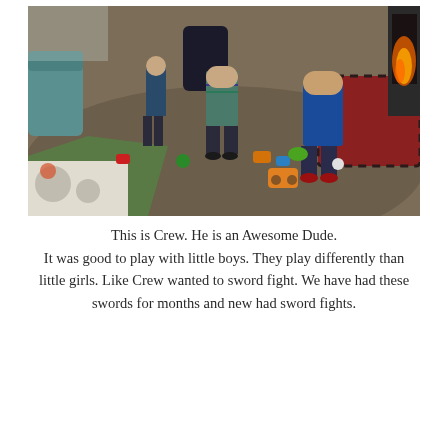[Figure (photo): Three young boys playing indoors in a living room with toys scattered on the carpet. A fireplace is visible on the right side with red plaid cushions. A teal armchair is on the left. The boys are toddler-aged, playing with colorful toy trucks and balls on a carpet.]
This is Crew. He is an Awesome Dude. It was good to play with little boys. They play differently than little girls. Like Crew wanted to sword fight. We have had these swords for months and new had sword fights.